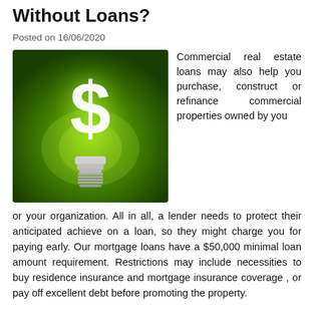Without Loans?
Posted on 16/06/2020
[Figure (photo): A glowing light bulb with a dollar sign ($) on a dark green background]
Commercial real estate loans may also help you purchase, construct or refinance commercial properties owned by you or your organization. All in all, a lender needs to protect their anticipated achieve on a loan, so they might charge you for paying early. Our mortgage loans have a $50,000 minimal loan amount requirement. Restrictions may include necessities to buy residence insurance and mortgage insurance coverage , or pay off excellent debt before promoting the property.